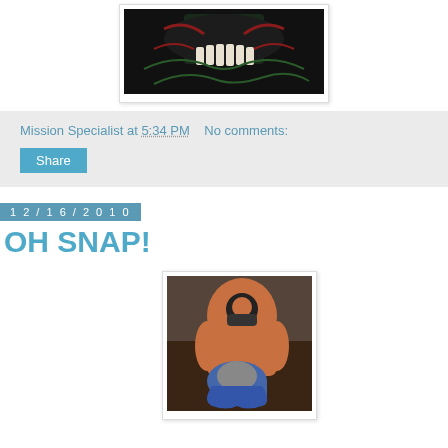[Figure (photo): Dark horror image showing a creature with large teeth/fangs and red decorative elements on a dark background]
Mission Specialist at 5:34 PM   No comments:
Share
12/16/2010
OH SNAP!
[Figure (photo): Action figure photo showing Bane wrestling/grappling with Batman figure]